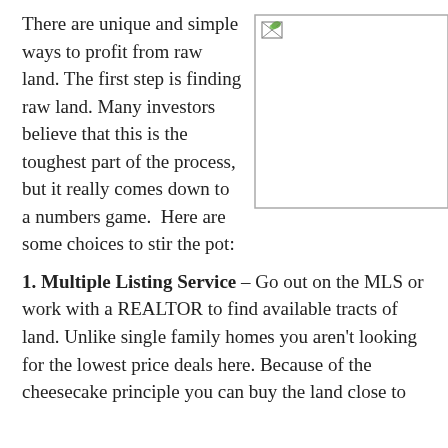There are unique and simple ways to profit from raw land. The first step is finding raw land. Many investors believe that this is the toughest part of the process, but it really comes down to a numbers game.  Here are some choices to stir the pot:
[Figure (photo): A placeholder image box with a broken image icon in the top-left corner, outlined with a thin gray border.]
1. Multiple Listing Service – Go out on the MLS or work with a REALTOR to find available tracts of land. Unlike single family homes you aren't looking for the lowest price deals here. Because of the cheesecake principle you can buy the land close to